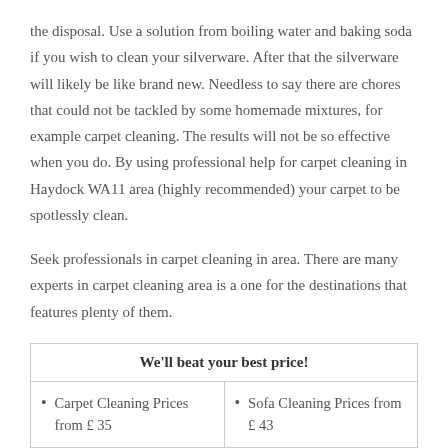the disposal. Use a solution from boiling water and baking soda if you wish to clean your silverware. After that the silverware will likely be like brand new. Needless to say there are chores that could not be tackled by some homemade mixtures, for example carpet cleaning. The results will not be so effective when you do. By using professional help for carpet cleaning in Haydock WA11 area (highly recommended) your carpet to be spotlessly clean.
Seek professionals in carpet cleaning in area. There are many experts in carpet cleaning area is a one for the destinations that features plenty of them.
| We'll beat your best price! |
| --- |
| • Carpet Cleaning Prices from £ 35 | • Sofa Cleaning Prices from £ 43 |
|  |  |